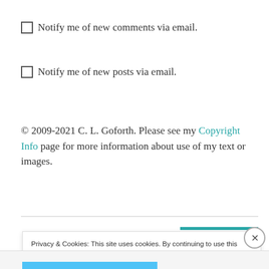Notify me of new comments via email.
Notify me of new posts via email.
© 2009-2021 C. L. Goforth. Please see my Copyright Info page for more information about use of my text or images.
Privacy & Cookies: This site uses cookies. By continuing to use this website, you agree to their use. To find out more, including how to control cookies, see here: Cookie Policy
Close and accept